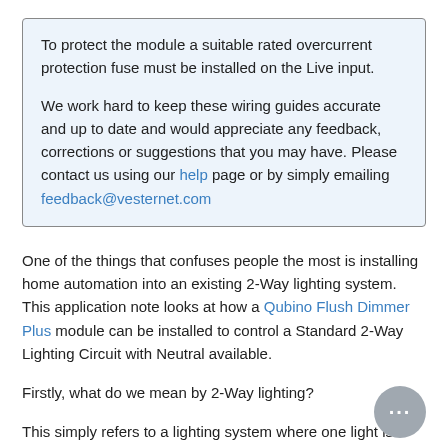To protect the module a suitable rated overcurrent protection fuse must be installed on the Live input.

We work hard to keep these wiring guides accurate and up to date and would appreciate any feedback, corrections or suggestions that you may have. Please contact us using our help page or by simply emailing feedback@vesternet.com
One of the things that confuses people the most is installing home automation into an existing 2-Way lighting system. This application note looks at how a Qubino Flush Dimmer Plus module can be installed to control a Standard 2-Way Lighting Circuit with Neutral available.
Firstly, what do we mean by 2-Way lighting?
This simply refers to a lighting system where one light is